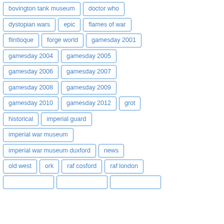bovington tank museum
doctor who
dystopian wars
epic
flames of war
flintloque
forge world
gamesday 2001
gamesday 2004
gamesday 2005
gamesday 2006
gamesday 2007
gamesday 2008
gamesday 2009
gamesday 2010
gamesday 2012
grot
historical
imperial guard
imperial war museum
imperial war museum duxford
news
old west
ork
raf cosford
raf london